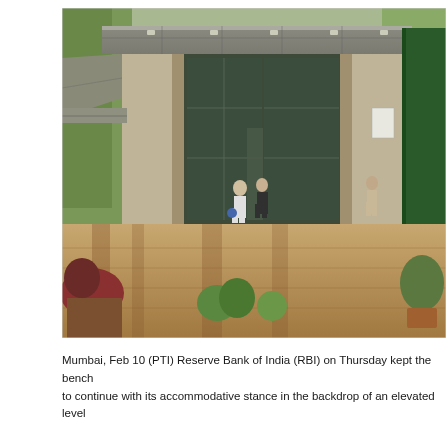[Figure (photo): Exterior entrance of the Reserve Bank of India building. The photo shows the covered entrance portico with a flat canopy ceiling, glass facade and revolving doors, two people walking toward the entrance, a person standing to the right, potted plants, and lush greenery. The forecourt has a patterned brick/wood-tone pavement. Green paneling visible on the right side.]
Mumbai, Feb 10 (PTI) Reserve Bank of India (RBI) on Thursday kept the bench to continue with its accommodative stance in the backdrop of an elevated level